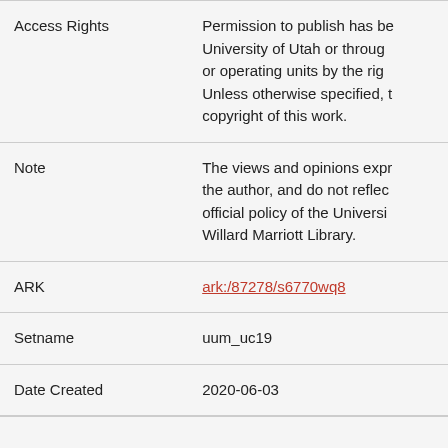| Field | Value |
| --- | --- |
| Access Rights | Permission to publish has be... University of Utah or throug... or operating units by the rig... Unless otherwise specified, t... copyright of this work. |
| Note | The views and opinions expr... the author, and do not reflec... official policy of the Universi... Willard Marriott Library. |
| ARK | ark:/87278/s6770wq8 |
| Setname | uum_uc19 |
| Date Created | 2020-06-03 |